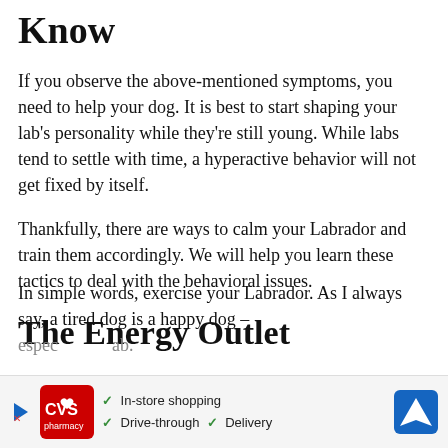Know
If you observe the above-mentioned symptoms, you need to help your dog. It is best to start shaping your lab’s personality while they’re still young. While labs tend to settle with time, a hyperactive behavior will not get fixed by itself.
Thankfully, there are ways to calm your Labrador and train them accordingly. We will help you learn these tactics to deal with the behavioral issues.
The Energy Outlet
In simple words, exercise your Labrador. As I always say, a tired dog is a happy dog – especially a lab.
[Figure (other): CVS Pharmacy advertisement banner showing in-store shopping, drive-through, and delivery options with CVS logo and navigation icon]